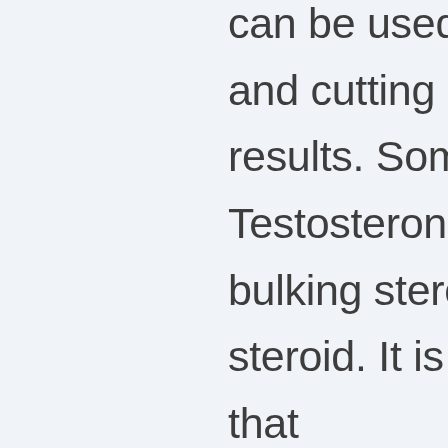can be used for both bulking and cutting cycles with positive results. Some will tell you that Testosterone Enanthate isn't a bulking steroid or a cutting steroid. It is simply a steroid that